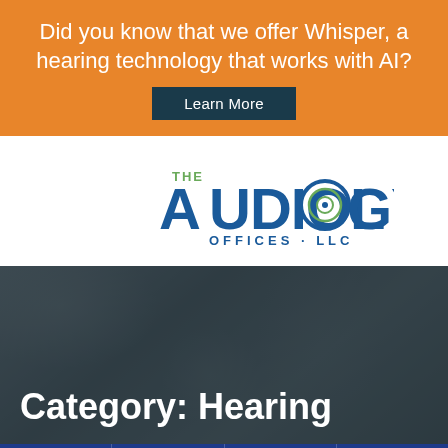Did you know that we offer Whisper, a hearing technology that works with AI?
Learn More
[Figure (logo): The Audiology Offices LLC logo with circular sound wave graphic]
Category: Hearing
About | Location | Contact | Menu